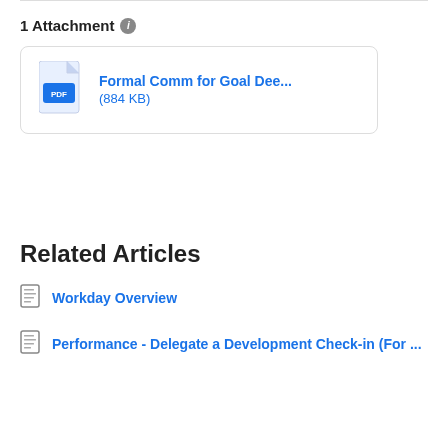1 Attachment
[Figure (other): PDF file attachment card showing 'Formal Comm for Goal Dee... (884 KB)']
Related Articles
Workday Overview
Performance - Delegate a Development Check-in (For ...